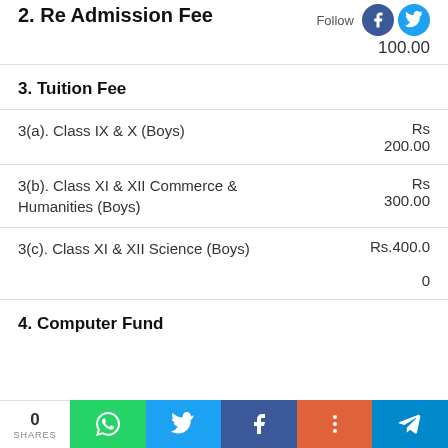2. Re Admission Fee
Rs 100.00
3. Tuition Fee
3(a). Class IX & X (Boys)
Rs 200.00
3(b). Class XI & XII Commerce & Humanities (Boys)
Rs 300.00
3(c). Class XI & XII Science (Boys)
Rs.400.00
4. Computer Fund
0 SHARES  [WhatsApp] [Twitter] [Facebook] [+] [Telegram]